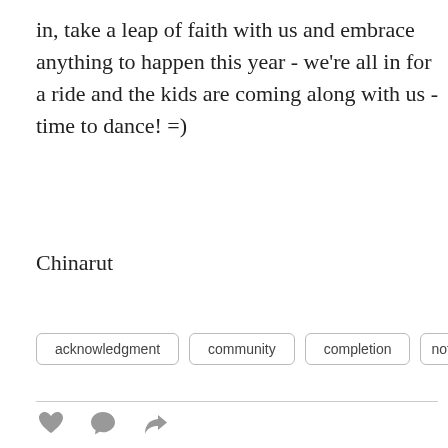in, take a leap of faith with us and embrace anything to happen this year - we're all in for a ride and the kids are coming along with us - time to dance! =)
Chinarut
acknowledgment
community
completion
noth